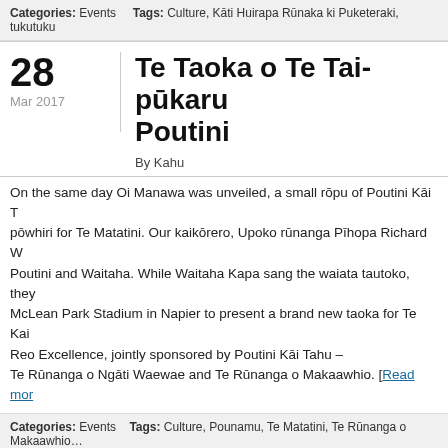Categories: Events   Tags: Culture, Kāti Huirapa Rūnaka ki Puketeraki, tukutuku
Te Taoka o Te Tai-pūkaru Poutini
By Kahu
On the same day Oi Manawa was unveiled, a small rōpu of Poutini Kāi T… pōwhiri for Te Matatini. Our kaikōrero, Upoko rūnanga Pīhopa Richard W… Poutini and Waitaha. While Waitaha Kapa sang the waiata tautoko, they … McLean Park Stadium in Napier to present a brand new taoka for Te Kai… Reo Excellence, jointly sponsored by Poutini Kāi Tahu – Te Rūnanga o Ngāti Waewae and Te Rūnanga o Makaawhio. [Read more…]
Categories: Events   Tags: Culture, Pounamu, Te Matatini, Te Rūnanga o Makaawhio…
Hīkoi Waewae